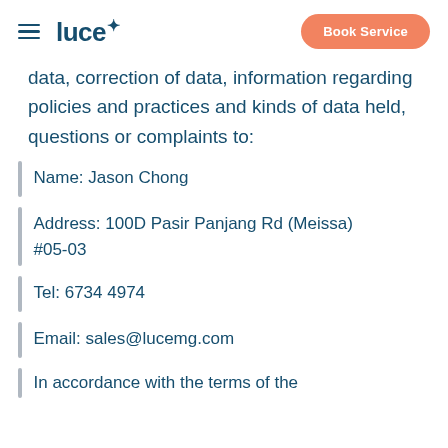luce | Book Service
data, correction of data, information regarding policies and practices and kinds of data held, questions or complaints to:
Name: Jason Chong
Address: 100D Pasir Panjang Rd (Meissa) #05-03
Tel: 6734 4974
Email: sales@lucemg.com
In accordance with the terms of the